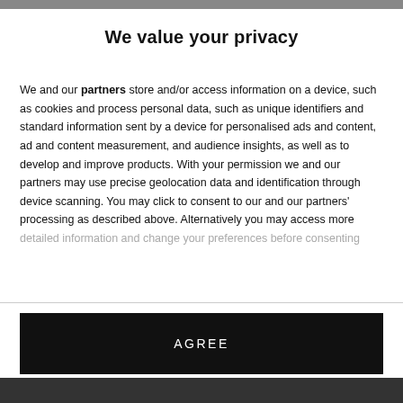We value your privacy
We and our partners store and/or access information on a device, such as cookies and process personal data, such as unique identifiers and standard information sent by a device for personalised ads and content, ad and content measurement, and audience insights, as well as to develop and improve products. With your permission we and our partners may use precise geolocation data and identification through device scanning. You may click to consent to our and our partners' processing as described above. Alternatively you may access more detailed information and change your preferences before consenting or to refuse consenting.
AGREE
MORE OPTIONS